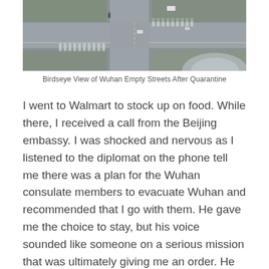[Figure (photo): Birdseye aerial view of Wuhan empty streets and intersection after quarantine, showing roads, crosswalks, and sparse vehicles from above.]
Birdseye View of Wuhan Empty Streets After Quarantine
I went to Walmart to stock up on food. While there, I received a call from the Beijing embassy. I was shocked and nervous as I listened to the diplomat on the phone tell me there was a plan for the Wuhan consulate members to evacuate Wuhan and recommended that I go with them. He gave me the choice to stay, but his voice sounded like someone on a serious mission that was ultimately giving me an order. He referred me to a contact in the consulate who would work with me on the logistics for leaving. I was also put on a WeChat group so I could keep updated on the situation.